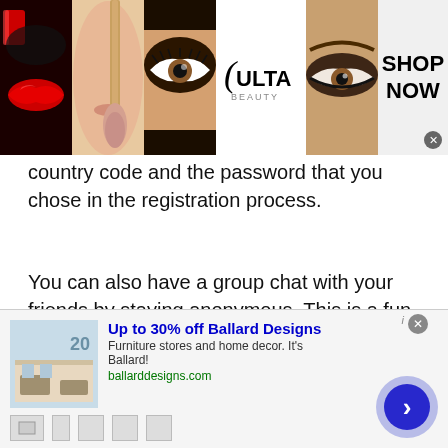[Figure (screenshot): Ulta Beauty advertisement banner with makeup images (lips, makeup brush, eyes, Ulta logo, eyes) and 'SHOP NOW' text on right with close X button]
country code and the password that you chose in the registration process.
You can also have a group chat with your friends by staying anonymous. This is a fun way to make new friends.
You can share pictures, have discussions, discover secrets and gossip freely without any fear.
You can use the Antichat app for more fun. It is available on the App Store or get it on Google play.
[Figure (screenshot): Ballard Designs advertisement banner: thumbnail image of room decor, 'Up to 30% off Ballard Designs' headline in bold blue, 'Furniture stores and home decor. It’s Ballard!' subtitle, 'ballarddesigns.com' URL in green, navigation arrow circle button on right, close X button, and nav icons at bottom]